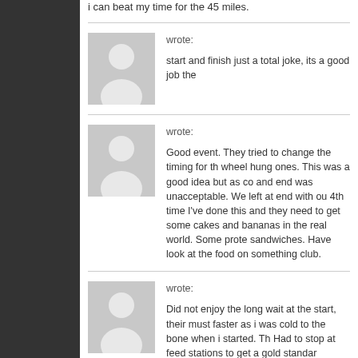i can beat my time for the 45 miles.
wrote:
start and finish just a total joke, its a good job the
wrote:
Good event. They tried to change the timing for th wheel hung ones. This was a good idea but as co and end was unacceptable. We left at end with ou 4th time I've done this and they need to get some cakes and bananas in the real world. Some prote sandwiches. Have look at the food on something club.
wrote:
Did not enjoy the long wait at the start, their must faster as i was cold to the bone when i started. Th Had to stop at feed stations to get a gold standar